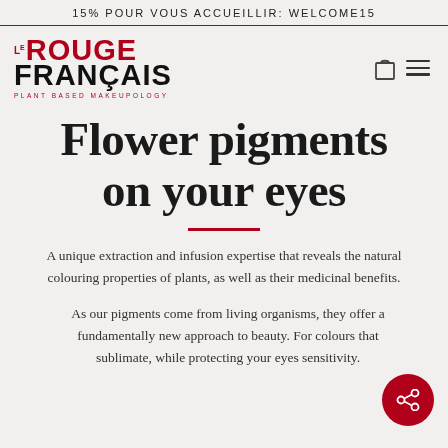15% POUR VOUS ACCUEILLIR: WELCOME15
[Figure (logo): Le Rouge Français logo with tagline PLANT BASED MAKEUPOLOGY in red and black, with bag and menu icons]
Flower pigments on your eyes
A unique extraction and infusion expertise that reveals the natural colouring properties of plants, as well as their medicinal benefits.
As our pigments come from living organisms, they offer a fundamentally new approach to beauty. For colours that sublimate, while protecting your eyes sensitivity.